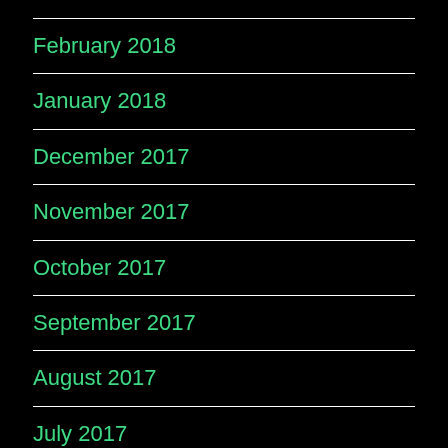February 2018
January 2018
December 2017
November 2017
October 2017
September 2017
August 2017
July 2017